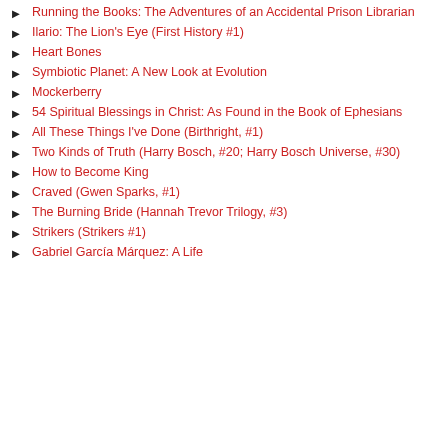Running the Books: The Adventures of an Accidental Prison Librarian
Ilario: The Lion's Eye (First History #1)
Heart Bones
Symbiotic Planet: A New Look at Evolution
Mockerberry
54 Spiritual Blessings in Christ: As Found in the Book of Ephesians
All These Things I've Done (Birthright, #1)
Two Kinds of Truth (Harry Bosch, #20; Harry Bosch Universe, #30)
How to Become King
Craved (Gwen Sparks, #1)
The Burning Bride (Hannah Trevor Trilogy, #3)
Strikers (Strikers #1)
Gabriel García Márquez: A Life